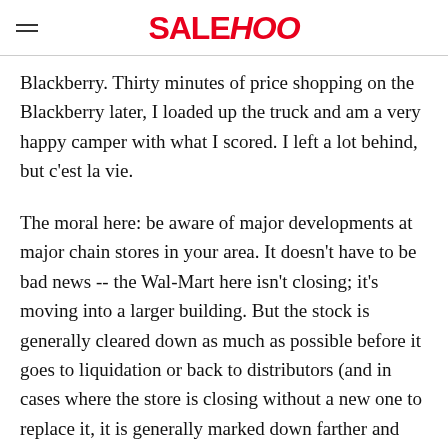SALEHOO
Blackberry. Thirty minutes of price shopping on the Blackberry later, I loaded up the truck and am a very happy camper with what I scored. I left a lot behind, but c'est la vie.
The moral here: be aware of major developments at major chain stores in your area. It doesn't have to be bad news -- the Wal-Mart here isn't closing; it's moving into a larger building. But the stock is generally cleared down as much as possible before it goes to liquidation or back to distributors (and in cases where the store is closing without a new one to replace it, it is generally marked down farther and farther until nothing is left.) Store closings are an opportunistic thing, but those, and major clearance sales on regional companies, consolidations from mergers etc. are all outstanding places